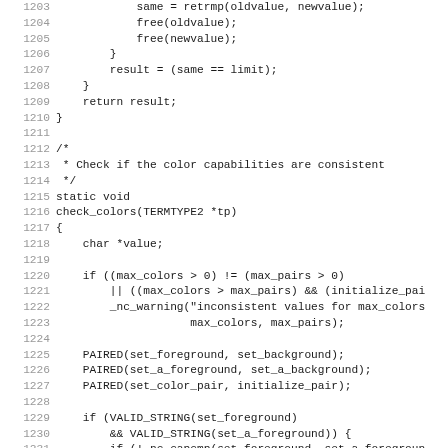Source code listing, lines 1203-1235, C code for check_colors function and related utilities